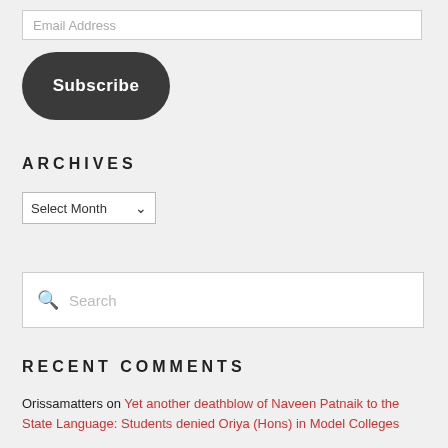Email Address
Subscribe
ARCHIVES
Select Month
Search
RECENT COMMENTS
Orissamatters on Yet another deathblow of Naveen Patnaik to the State Language: Students denied Oriya (Hons) in Model Colleges